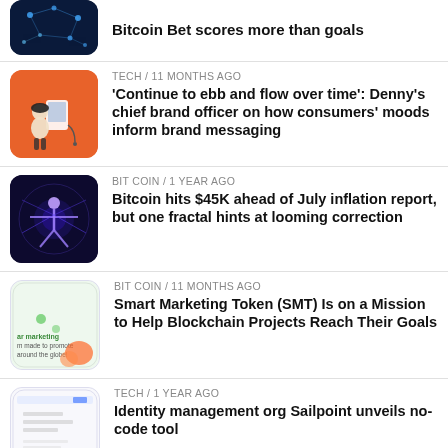[Figure (illustration): Blockchain network nodes illustration, dark blue background with glowing dots and lines]
Bitcoin Bet scores more than goals
[Figure (illustration): Person sitting at computer on orange background, illustrated style]
TECH / 11 months ago
'Continue to ebb and flow over time': Denny's chief brand officer on how consumers' moods inform brand messaging
[Figure (illustration): Vitruvian man style figure with neon blue glow on dark background]
BIT COIN / 1 year ago
Bitcoin hits $45K ahead of July inflation report, but one fractal hints at looming correction
[Figure (illustration): Smart Marketing Token promotional graphic, light green background with text]
BIT COIN / 11 months ago
Smart Marketing Token (SMT) Is on a Mission to Help Blockchain Projects Reach Their Goals
[Figure (screenshot): Identity management software interface screenshot, light background with form fields]
TECH / 1 year ago
Identity management org Sailpoint unveils no-code tool
[Figure (logo): Bitbank logo with blue fish icon on grey background]
CRYPTOCURRENCY / 11 months ago
Japan crypto exchange bitbank upgrades